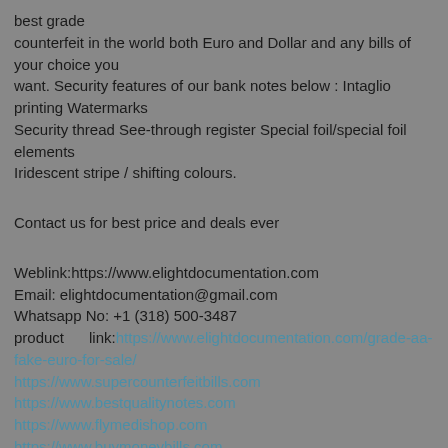best grade
counterfeit in the world both Euro and Dollar and any bills of your choice you
want. Security features of our bank notes below : Intaglio printing Watermarks
Security thread See-through register Special foil/special foil elements
Iridescent stripe / shifting colours.
Contact us for best price and deals ever
Weblink:https://www.elightdocumentation.com
Email: elightdocumentation@gmail.com
Whatsapp No: +1 (318) 500-3487
product     link:https://www.elightdocumentation.com/grade-aa-fake-euro-for-sale/
https://www.supercounterfeitbills.com
https://www.bestqualitynotes.com
https://www.flymedishop.com
https://www.buymoneybills.com
productlink..    https://www.elightdocumentation.com/where-to-buy-the-best-counterfeit-money/